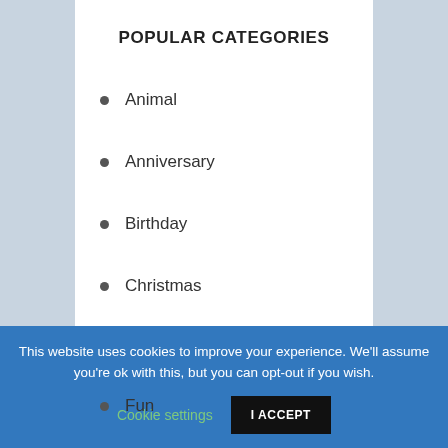POPULAR CATEGORIES
Animal
Anniversary
Birthday
Christmas
Flowers
Fun
Life Style
This website uses cookies to improve your experience. We'll assume you're ok with this, but you can opt-out if you wish.
Cookie settings
I ACCEPT